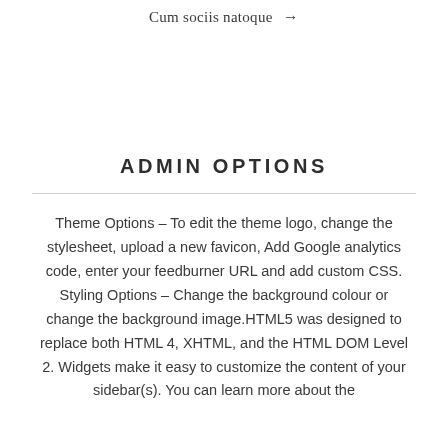Cum sociis natoque →
ADMIN OPTIONS
Theme Options – To edit the theme logo, change the stylesheet, upload a new favicon, Add Google analytics code, enter your feedburner URL and add custom CSS. Styling Options – Change the background colour or change the background image.HTML5 was designed to replace both HTML 4, XHTML, and the HTML DOM Level 2. Widgets make it easy to customize the content of your sidebar(s). You can learn more about the